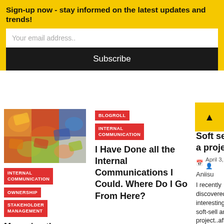Sign-up now - stay informed on the latest updates and trends!
Your email address..
Subscribe
[Figure (photo): Colorful jigsaw puzzle pieces scattered]
INTERNAL COMMUNICATION
OWNERSHIP
STAKEHOLDER MANAGEMENT
Managing the
BLOGROLL
INTERNAL COMMUNICATION
I Have Done all the Internal Communications I Could. Where Do I Go From Here?
INTERNAL COMMUNICATION
Soft selling a project....
April 3, 2007
Aniisu
I recently discovered an interesting way to soft-sell an up- project..after a